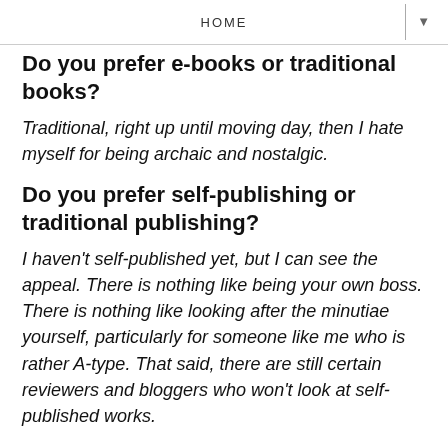HOME
Do you prefer e-books or traditional books?
Traditional, right up until moving day, then I hate myself for being archaic and nostalgic.
Do you prefer self-publishing or traditional publishing?
I haven't self-published yet, but I can see the appeal. There is nothing like being your own boss. There is nothing like looking after the minutiae yourself, particularly for someone like me who is rather A-type. That said, there are still certain reviewers and bloggers who won't look at self-published works.
What are you reading at the moment?
A Tale of Two Cities. Did I mention that I am in awe of Dickens? Well, it's worth mentioning again anyway.